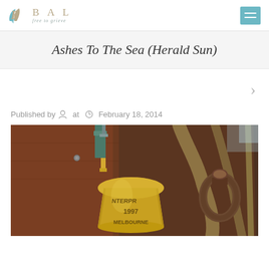BAL free to grieve — logo and navigation header
Ashes To The Sea (Herald Sun)
Published by [person icon] at [clock icon] February 18, 2014
[Figure (photo): Close-up photograph of a ship's brass bell engraved with 'ENTERPRISE 1997 MELBOURNE' mounted on dark wooden hull with ropes and rigging in background]